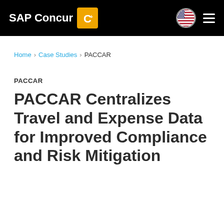SAP Concur
Home > Case Studies > PACCAR
PACCAR
PACCAR Centralizes Travel and Expense Data for Improved Compliance and Risk Mitigation